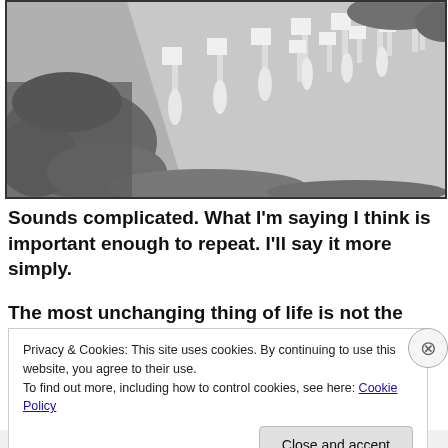[Figure (photo): Black and white historical photograph taken from above showing a suffragette or protest march. Women in white dresses carry signs/placards while large crowds of spectators line the sides of the street.]
Sounds complicated. What I'm saying I think is important enough to repeat. I'll say it more simply.
The most unchanging thing of life is not the things we
Privacy & Cookies: This site uses cookies. By continuing to use this website, you agree to their use.
To find out more, including how to control cookies, see here: Cookie Policy